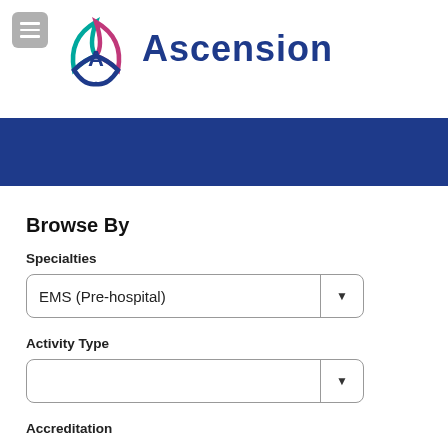[Figure (logo): Ascension health system logo with triquetra symbol in blue, magenta, and teal, and the word Ascension in dark blue bold serif font]
Browse By
Specialties
EMS (Pre-hospital)
Activity Type
Accreditation